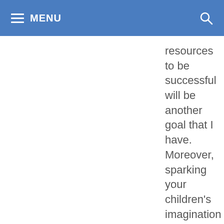MENU
resources to be successful will be another goal that I have. Moreover, sparking your children's imagination with creative ideas, and thoughts will be my priority. We are working as